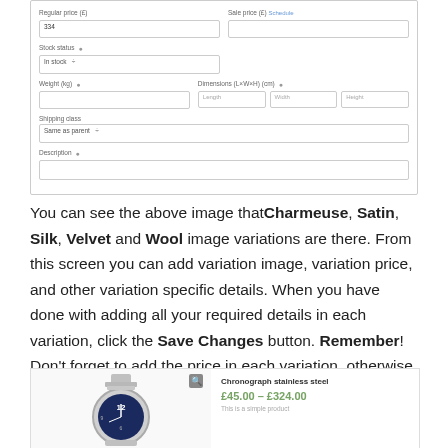[Figure (screenshot): WooCommerce product variation form showing Regular price field with value 334, Stock status dropdown set to 'In stock', Weight field, Dimensions fields (Length, Width, Height), Shipping class dropdown set to 'Same as parent', and Description field]
You can see the above image that Charmeuse, Satin, Silk, Velvet and Wool image variations are there. From this screen you can add variation image, variation price, and other variation specific details. When you have done with adding all your required details in each variation, click the Save Changes button. Remember! Don't forget to add the price in each variation, otherwise, variations won't be visible on the product frontend. If you can successfully add variation. You can see the following swatches in your product frontend.
[Figure (screenshot): WooCommerce product frontend showing a Chronograph stainless steel watch with price range £45.00 – £324.00 and description 'This is a simple product']